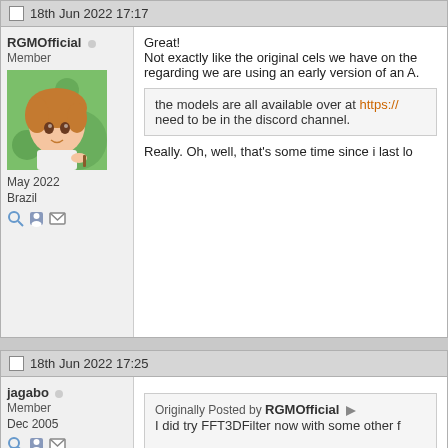18th Jun 2022 17:17
RGMOfficial ○
Member
May 2022
Brazil
[Figure (illustration): Anime-style avatar of a character with brown hair on green background]
Great!
Not exactly like the original cels we have on the regarding we are using an early version of an A.
the models are all available over at https:// need to be in the discord channel.
Really. Oh, well, that's some time since i last lo
18th Jun 2022 17:25
jagabo ○
Member
Dec 2005
Originally Posted by RGMOfficial
I did try FFT3DFilter now with some other f

Code:
FFVideoSource("EPISODE_FILE.